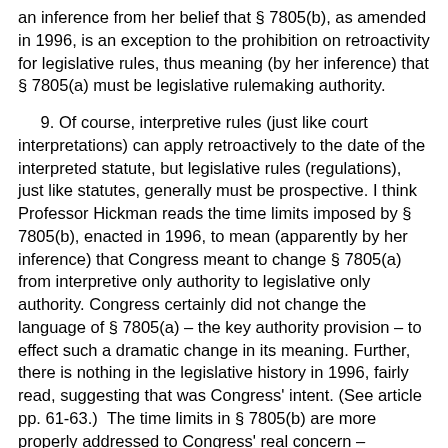an inference from her belief that § 7805(b), as amended in 1996, is an exception to the prohibition on retroactivity for legislative rules, thus meaning (by her inference) that § 7805(a) must be legislative rulemaking authority.
9. Of course, interpretive rules (just like court interpretations) can apply retroactively to the date of the interpreted statute, but legislative rules (regulations), just like statutes, generally must be prospective. I think Professor Hickman reads the time limits imposed by § 7805(b), enacted in 1996, to mean (apparently by her inference) that Congress meant to change § 7805(a) from interpretive only authority to legislative only authority. Congress certainly did not change the language of § 7805(a) – the key authority provision – to effect such a dramatic change in its meaning. Further, there is nothing in the legislative history in 1996, fairly read, suggesting that was Congress' intent. (See article pp. 61-63.)  The time limits in § 7805(b) are more properly addressed to Congress' real concern – retroactivity of agency interpretations; the politically charged concern in 1996 was not to give the IRS more power by permitting retroactivity otherwise prohibited for a legislative rule but to take away retroactivity otherwise permitted for an interpretive